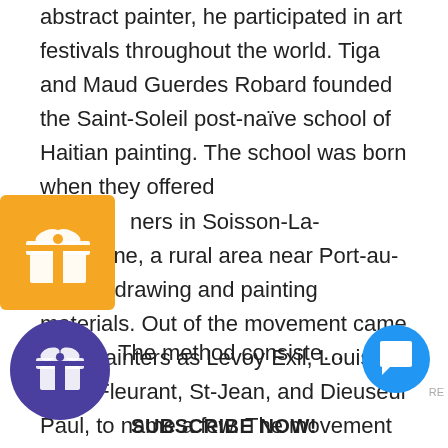abstract painter, he participated in art festivals throughout the world. Tiga and Maud Guerdes Robard founded the Saint-Soleil post-naïve school of Haitian painting. The school was born when they offered [farmers] in Soisson-La-Montagne, a rural area near Port-au-Prince, drawing and painting materials. Out of the movement came such painters as Levoy Exil, Louisiane Saint Fleurant, St-Jean, and Dieuseul Paul, to name a few. The movement drew the eye of French author André Malraux, who dedicated a chapter to it in his book L'Intemporel. Tiga also created Kaytiga, a gallery and cultural center where he taught children and adults art through his Rotation Artistique (Artistic Rotation) [method.] The method consisted of letting pupils r[otate...]
[Figure (illustration): Orange/yellow gift box icon with white ribbon and bow, overlapping the text on the left side around the middle of the page]
[Figure (illustration): Purple circle avatar with a white gift/present icon inside, positioned at bottom left]
[Figure (illustration): Blue circle chat bubble icon positioned at bottom right]
The method consisted of letting pupils r
SUBSCRIBE NOW!